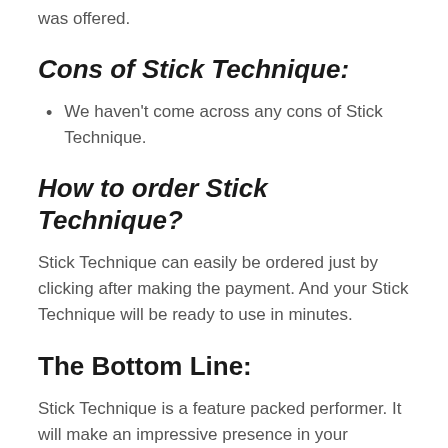was offered.
Cons of Stick Technique:
We haven't come across any cons of Stick Technique.
How to order Stick Technique?
Stick Technique can easily be ordered just by clicking after making the payment. And your Stick Technique will be ready to use in minutes.
The Bottom Line:
Stick Technique is a feature packed performer. It will make an impressive presence in your business. Don't hesitate.